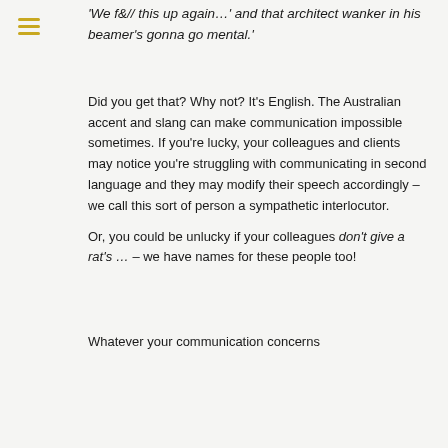'We f&// this up again…' and that architect wanker in his beamer's gonna go mental.'
Did you get that? Why not? It's English. The Australian accent and slang can make communication impossible sometimes. If you're lucky, your colleagues and clients may notice you're struggling with communicating in second language and they may modify their speech accordingly – we call this sort of person a sympathetic interlocutor.
Or, you could be unlucky if your colleagues don't give a rat's … – we have names for these people too!
Whatever your communication concerns